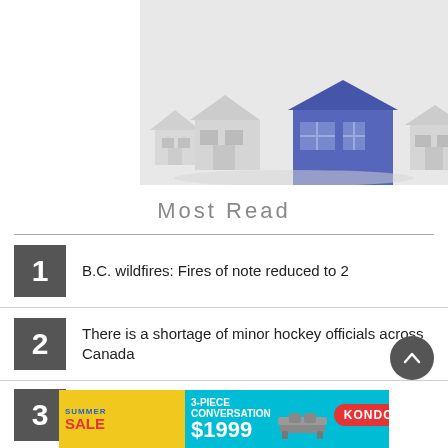[Figure (photo): 3D rendered white and blue toy houses on a white surface, with the blue house standing out among white houses.]
Most Read
1 B.C. wildfires: Fires of note reduced to 2
2 There is a shortage of minor hockey officials across Canada
3 ...
[Figure (photo): KONDOLAS summer sale advertisement banner — 3-piece conversation set $1999, cyan and yellow background with furniture image.]